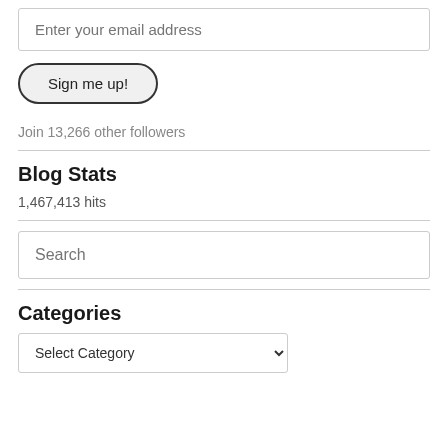Enter your email address
Sign me up!
Join 13,266 other followers
Blog Stats
1,467,413 hits
Search
Categories
Select Category